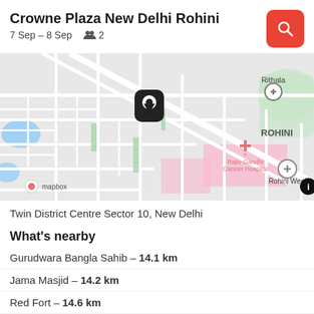Crowne Plaza New Delhi Rohini
7 Sep – 8 Sep   2
[Figure (map): Map showing the location of Crowne Plaza New Delhi Rohini near Rohini West, with Rajiv Gandhi Cancer Hospital and Rithala labeled. Map provided by Mapbox.]
Twin District Centre Sector 10, New Delhi
What's nearby
Gurudwara Bangla Sahib – 14.1 km
Jama Masjid – 14.2 km
Red Fort – 14.6 km
Rashtrapati Bhavan – 14.6 km